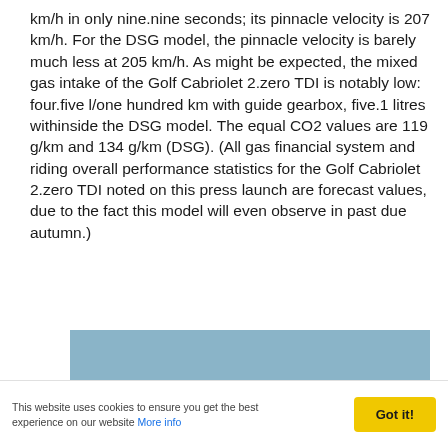km/h in only nine.nine seconds; its pinnacle velocity is 207 km/h. For the DSG model, the pinnacle velocity is barely much less at 205 km/h. As might be expected, the mixed gas intake of the Golf Cabriolet 2.zero TDI is notably low: four.five l/one hundred km with guide gearbox, five.1 litres withinside the DSG model. The equal CO2 values are 119 g/km and 134 g/km (DSG). (All gas financial system and riding overall performance statistics for the Golf Cabriolet 2.zero TDI noted on this press launch are forecast values, due to the fact this model will even observe in past due autumn.)
[Figure (photo): Partial image of a car (Golf Cabriolet), showing a blue-gray upper portion, cropped at the bottom of the page.]
This website uses cookies to ensure you get the best experience on our website More info  Got it!